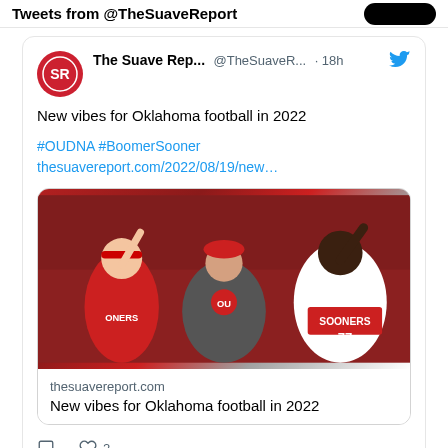Tweets from @TheSuaveReport
The Suave Rep... @TheSuaveR... · 18h
New vibes for Oklahoma football in 2022
#OUDNA #BoomerSooner
thesuavereport.com/2022/08/19/new…
[Figure (photo): Oklahoma Sooners football players and coach celebrating, wearing red jerseys with SOONERS and number 77 visible, raising fingers, smiling]
thesuavereport.com
New vibes for Oklahoma football in 2022
2 likes